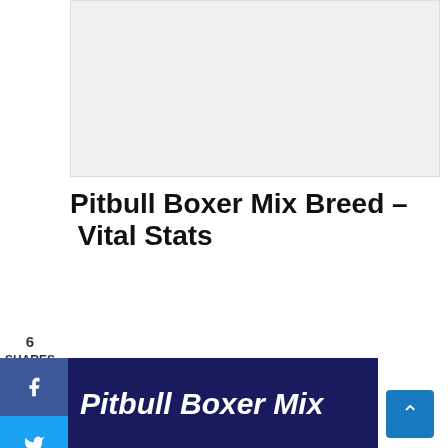[Figure (other): Advertisement placeholder banner]
Pitbull Boxer Mix Breed – Vital Stats
6
SHARES
[Figure (infographic): Pitbull Boxer Mix infographic showing: Height: 17" - 25" tall, Weight: 50 lbs - 80 lbs, Lifespan: 10 - 14 years, Origin: USA, Alternative Name: Bullboxer Pit, Pixoter, American Bullboxer]